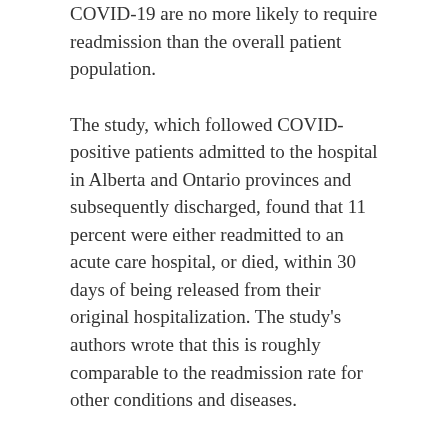COVID-19 are no more likely to require readmission than the overall patient population.
The study, which followed COVID-positive patients admitted to the hospital in Alberta and Ontario provinces and subsequently discharged, found that 11 percent were either readmitted to an acute care hospital, or died, within 30 days of being released from their original hospitalization. The study's authors wrote that this is roughly comparable to the readmission rate for other conditions and diseases.
The study can be accessed at https://www.cmaj.ca/content/194/19/E666
FEBRUARY 19, 2021
Lab creates new ‘lung on a chip’ for